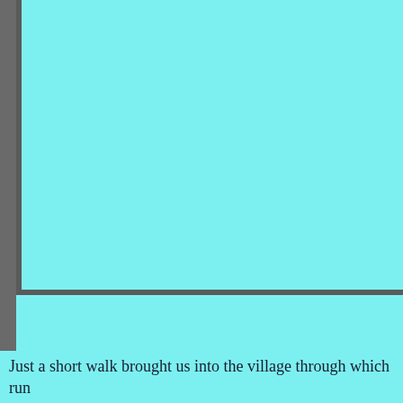[Figure (illustration): Cyan/turquoise background page with a dark gray vertical bar on the left edge and an inner L-shaped frame (dark border on left and bottom sides) creating a decorative border effect over a cyan fill.]
Just a short walk brought us into the village through which run